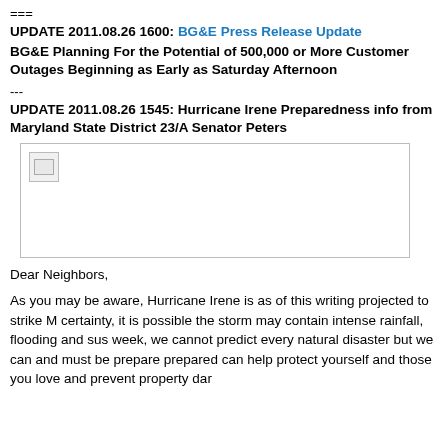===
UPDATE 2011.08.26 1600: BG&E Press Release Update
BG&E Planning For the Potential of 500,000 or More Customer Outages Beginning as Early as Saturday Afternoon
---
UPDATE 2011.08.26 1545: Hurricane Irene Preparedness info from Maryland State District 23/A Senator Peters
[Figure (photo): Broken/missing image placeholder]
Dear Neighbors,
As you may be aware, Hurricane Irene is as of this writing projected to strike M certainty, it is possible the storm may contain intense rainfall, flooding and sus week, we cannot predict every natural disaster but we can and must be prepare prepared can help protect yourself and those you love and prevent property dar